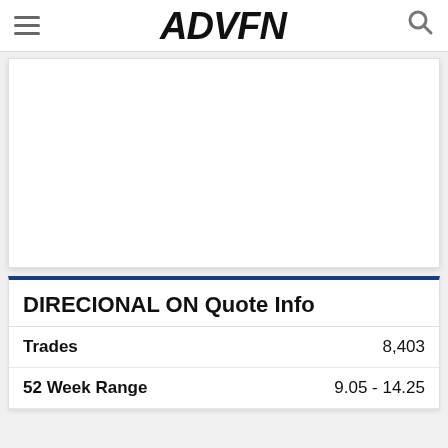ADVFN
[Figure (other): White rectangular advertisement/content placeholder area]
DIRECIONAL ON Quote Info
| Label | Value |
| --- | --- |
| Trades | 8,403 |
| 52 Week Range | 9.05 - 14.25 |